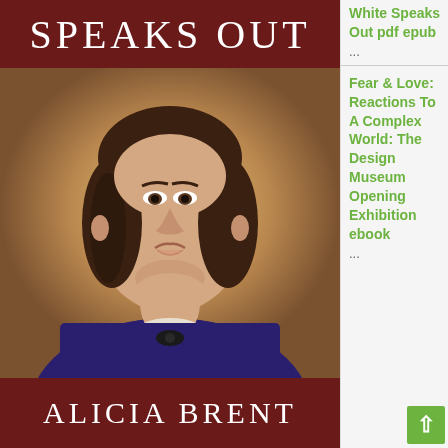[Figure (illustration): Book cover for 'Speaks Out' by Alicia Brent. Dark red/maroon top band with white text 'SPEAKS OUT', a painted portrait of a 19th-century woman with dark hair pulled back, wearing a white collar and dark blue dress, against a golden glowing background, and a dark red/maroon bottom band with white text 'ALICIA BRENT'.]
White Speaks Out pdf epub
...
Fear & Love: Reactions To A Complex World: The Design Museum Opening Exhibition ebook
...